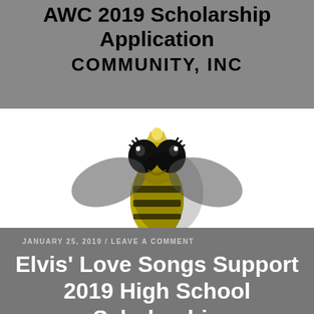AWC 2019 Scholarship Application
COMMUNITY, INC
[Figure (illustration): Cartoon bee mascot illustration, a yellow and black bee with large eyes, wearing a crown, with dark wings spread out, on white and grey background]
JANUARY 25, 2019 / LEAVE A COMMENT
Elvis’ Love Songs Support 2019 High School Scholarship